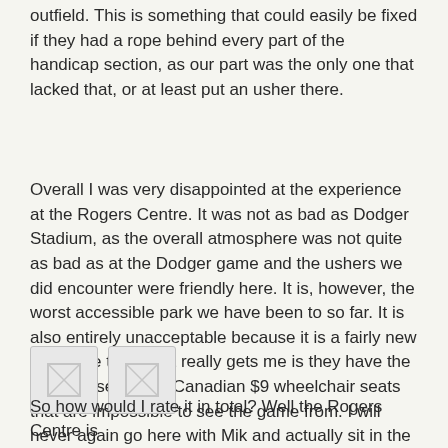outfield. This is something that could easily be fixed if they had a rope behind every part of the handicap section, as our part was the only one that lacked that, or at least put an usher there.
Overall I was very disappointed at the experience at the Rogers Centre. It was not as bad as Dodger Stadium, as the overall atmosphere was not quite as bad as at the Dodger game and the ushers we did encounter were friendly here. It is, however, the worst accessible park we have been to so far. It is also entirely unacceptable because it is a fairly new park. The thing that really gets me is they have the nerve to sell those Canadian $9 wheelchair seats that are impossible to see the game from. I will never again go here with Mik and actually sit in the Rogers Centre.
[Figure (photo): Two placeholder image thumbnails side by side]
So how would I rate it in total? Well the Rogers Centre is